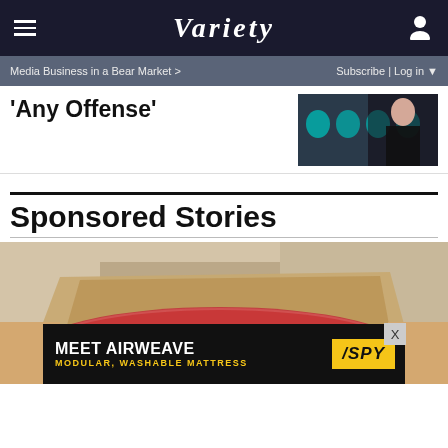VARIETY
Media Business in a Bear Market >   Subscribe | Log in
'Any Offense'
[Figure (photo): Woman in black dress at BAFTA event with teal BAFTA masks in background]
Sponsored Stories
[Figure (photo): Person in chef's coat holding raw meat wrapped in butcher paper]
[Figure (photo): Advertisement banner: MEET AIRWEAVE MODULAR, WASHABLE MATTRESS with SPY logo]